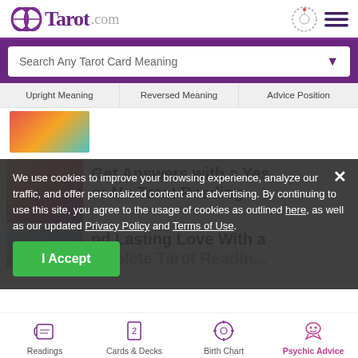Tarot.com
Search Any Tarot Card Meaning
Upright Meaning | Reversed Meaning | Advice Position
Get Answers with a Yes or No Tarot Reading
nd Lasting Love With a omplete Tarot Reading
We use cookies to improve your browsing experience, analyze our traffic, and offer personalized content and advertising. By continuing to use this site, you agree to the usage of cookies as outlined here, as well as our updated Privacy Policy and Terms of Use.
I Accept
Readings | Cards & Decks | Birth Chart | Psychic Advice